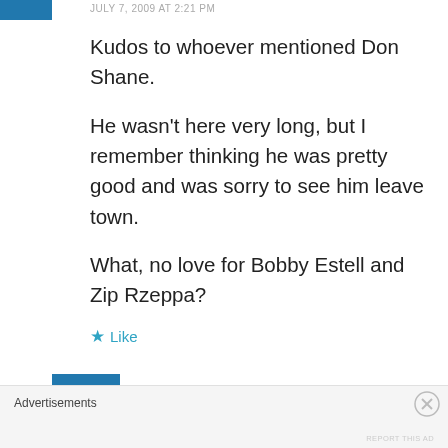JULY 7, 2009 AT 2:21 PM
Kudos to whoever mentioned Don Shane.

He wasn't here very long, but I remember thinking he was pretty good and was sorry to see him leave town.

What, no love for Bobby Estell and Zip Rzeppa?
Like
NASCL
Advertisements